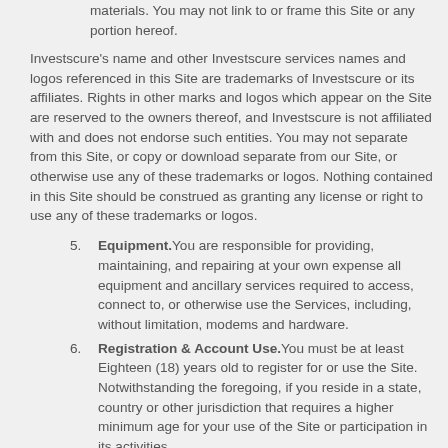intellectual property or legal notices or other identifying information 2 may be removed from downloaded materials. You may not link to or frame this Site or any portion hereof.
Investscure's name and other Investscure services names and logos referenced in this Site are trademarks of Investscure or its affiliates. Rights in other marks and logos which appear on the Site are reserved to the owners thereof, and Investscure is not affiliated with and does not endorse such entities. You may not separate from this Site, or copy or download separate from our Site, or otherwise use any of these trademarks or logos. Nothing contained in this Site should be construed as granting any license or right to use any of these trademarks or logos.
5. Equipment. You are responsible for providing, maintaining, and repairing at your own expense all equipment and ancillary services required to access, connect to, or otherwise use the Services, including, without limitation, modems and hardware.
6. Registration & Account Use. You must be at least Eighteen (18) years old to register for or use the Site. Notwithstanding the foregoing, if you reside in a state, country or other jurisdiction that requires a higher minimum age for your use of the Site or participation in its activities,